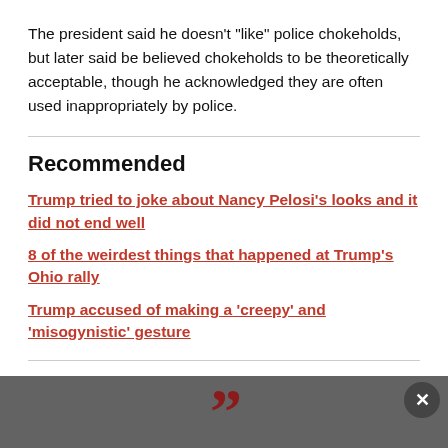The president said he doesn’t “like” police chokeholds, but later said be believed chokeholds to be theoretically acceptable, though he acknowledged they are often used inappropriately by police.
Recommended
Trump tried to joke about Nancy Pelosi’s looks and it did not end well
8 of the weirdest things that happened at Trump’s Ohio rally
Trump accused of making a ‘creepy’ and ‘misogynistic’ gesture
He said:
[Figure (other): Dark grey footer bar with large red closing quotation marks in the center, and an X close button on the right]